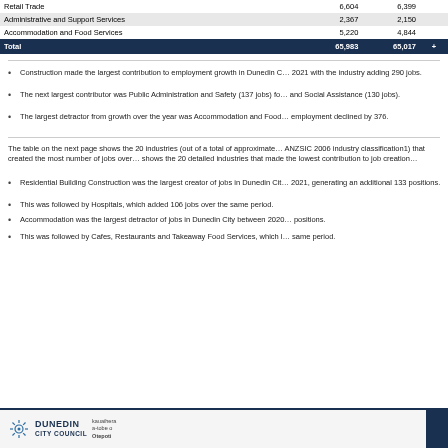| Industry | 2021 | 2020 |  |
| --- | --- | --- | --- |
| Retail Trade | 6,604 | 6,399 |  |
| Administrative and Support Services | 2,367 | 2,150 |  |
| Accommodation and Food Services | 5,220 | 4,844 |  |
| Total | 65,983 | 65,017 | + |
Construction made the largest contribution to employment growth in Dunedin City between 2020 and 2021 with the industry adding 290 jobs.
The next largest contributor was Public Administration and Safety (137 jobs) followed by Health Care and Social Assistance (130 jobs).
The largest detractor from growth over the year was Accommodation and Food Services, where employment declined by 376.
The table on the next page shows the 20 industries (out of a total of approximately 530 under the ANZSIC 2006 industry classification1) that created the most number of jobs over the same period. It also shows the 20 detailed industries that made the lowest contribution to job creation.
Residential Building Construction was the largest creator of jobs in Dunedin City between 2020 and 2021, generating an additional 133 positions.
This was followed by Hospitals, which added 106 jobs over the same period.
Accommodation was the largest detractor of jobs in Dunedin City between 2020 and 2021, losing 246 positions.
This was followed by Cafes, Restaurants and Takeaway Food Services, which lost 130 jobs over the same period.
DUNEDIN CITY COUNCIL | kauaihera a-tobe o Otepoti